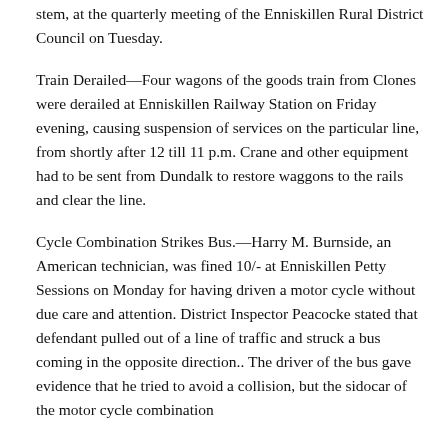stem, at the quarterly meeting of the Enniskillen Rural District Council on Tuesday.
Train Derailed—Four wagons of the goods train from Clones were derailed at Enniskillen Railway Station on Friday evening, causing suspension of services on the particular line, from shortly after 12 till 11 p.m. Crane and other equipment had to be sent from Dundalk to restore waggons to the rails and clear the line.
Cycle Combination Strikes Bus.—Harry M. Burnside, an American technician, was fined 10/- at Enniskillen Petty Sessions on Monday for having driven a motor cycle without due care and attention. District Inspector Peacocke stated that defendant pulled out of a line of traffic and struck a bus coming in the opposite direction.. The driver of the bus gave evidence that he tried to avoid a collision, but the sidocar of the motor cycle combination